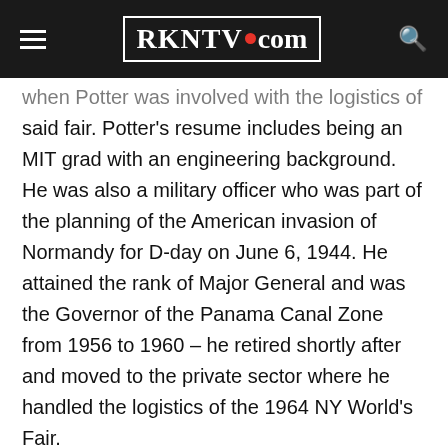RKNTV.com
when Potter was involved with the logistics of said fair. Potter's resume includes being an MIT grad with an engineering background. He was also a military officer who was part of the planning of the American invasion of Normandy for D-day on June 6, 1944. He attained the rank of Major General and was the Governor of the Panama Canal Zone from 1956 to 1960 – he retired shortly after and moved to the private sector where he handled the logistics of the 1964 NY World's Fair.